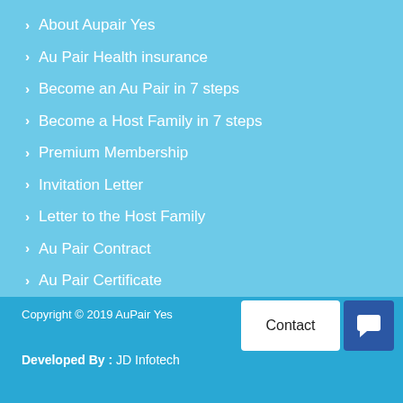About Aupair Yes
Au Pair Health insurance
Become an Au Pair in 7 steps
Become a Host Family in 7 steps
Premium Membership
Invitation Letter
Letter to the Host Family
Au Pair Contract
Au Pair Certificate
Copyright © 2019 AuPair Yes
Developed By :   JD Infotech